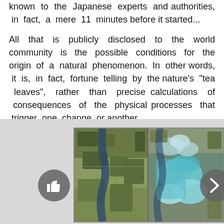known to the Japanese experts and authorities, in fact, a mere 11 minutes before it started...
All that is publicly disclosed to the world community is the possible conditions for the origin of a natural phenomenon. In other words, it is, in fact, fortune telling by the nature's “tea leaves”, rather than precise calculations of consequences of the physical processes that trigger one change or another.
[Figure (photo): Side-by-side satellite images showing before and after views of a coastal/river area, likely showing tsunami or flood damage. Left image shows normal green/brown landscape with a river. Right image shows flooding with turquoise/blue water inundation. Navigation arrows visible on left and right edges.]